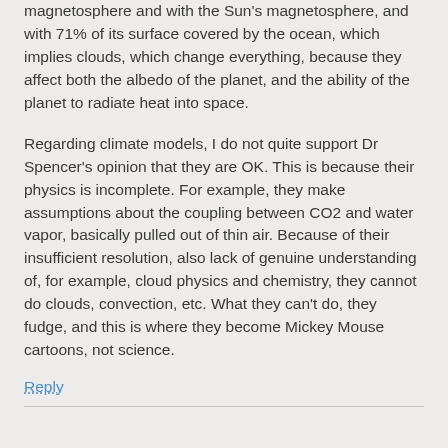magnetosphere and with the Sun's magnetosphere, and with 71% of its surface covered by the ocean, which implies clouds, which change everything, because they affect both the albedo of the planet, and the ability of the planet to radiate heat into space.
Regarding climate models, I do not quite support Dr Spencer's opinion that they are OK. This is because their physics is incomplete. For example, they make assumptions about the coupling between CO2 and water vapor, basically pulled out of thin air. Because of their insufficient resolution, also lack of genuine understanding of, for example, cloud physics and chemistry, they cannot do clouds, convection, etc. What they can't do, they fudge, and this is where they become Mickey Mouse cartoons, not science.
Reply